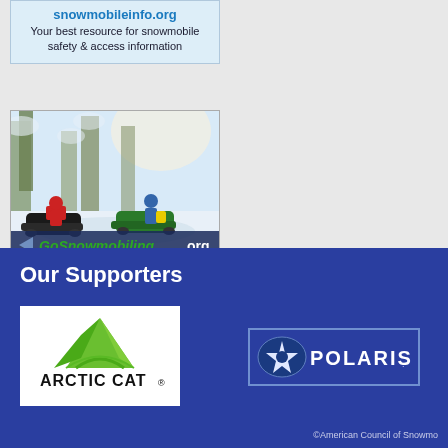[Figure (screenshot): snowmobileinfo.org advertisement box with URL and tagline]
[Figure (photo): GoSnowmobiling.org advertisement with snowmobilers in a snowy forest scene]
Our Supporters
[Figure (logo): Arctic Cat logo - green mountain shape with black text ARCTIC CAT]
[Figure (logo): Polaris logo - blue oval with star and POLARIS text]
©American Council of Snowmo